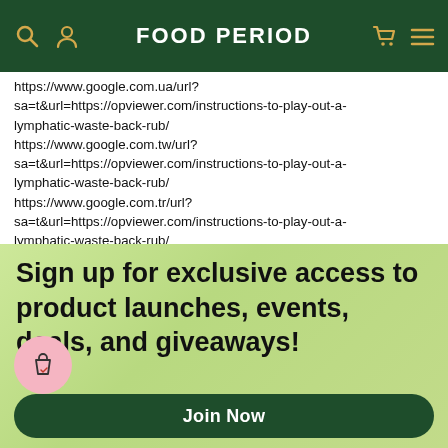FOOD PERIOD
https://www.google.com.ua/url?sa=t&url=https://opviewer.com/instructions-to-play-out-a-lymphatic-waste-back-rub/
https://www.google.com.tw/url?sa=t&url=https://opviewer.com/instructions-to-play-out-a-lymphatic-waste-back-rub/
https://www.google.com.tr/url?sa=t&url=https://opviewer.com/instructions-to-play-out-a-lymphatic-waste-back-rub/
https://www.google.com.sv/url?sa=t&url=https://opviewer.com/instructions-to-play-out-a-lymphatic-waste-back-rub/
https://www.google.com.sg/url?sa=t&url=https://opviewer.com/instructions-to-play-out-a-lymphatic-waste-back-rub/
Sign up for exclusive access to product launches, events, deals, and giveaways!
Join Now